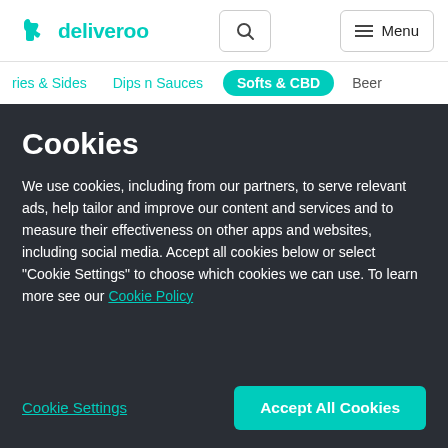[Figure (logo): Deliveroo logo with teal kangaroo icon and teal 'deliveroo' wordmark]
deliveroo | Search | Menu
ries & Sides   Dips n Sauces   Softs & CBD   Beer
Cookies
We use cookies, including from our partners, to serve relevant ads, help tailor and improve our content and services and to measure their effectiveness on other apps and websites, including social media. Accept all cookies below or select “Cookie Settings” to choose which cookies we can use. To learn more see our Cookie Policy
Cookie Settings
Accept All Cookies